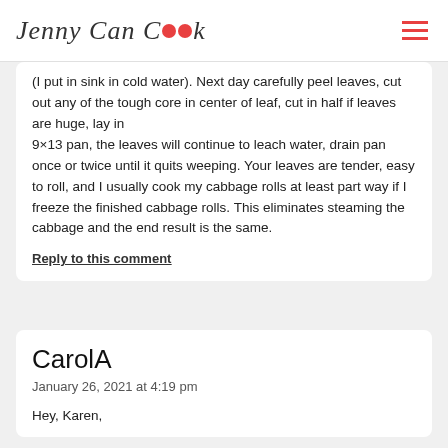Jenny Can Cook
(I put in sink in cold water). Next day carefully peel leaves, cut out any of the tough core in center of leaf, cut in half if leaves are huge, lay in 9×13 pan, the leaves will continue to leach water, drain pan once or twice until it quits weeping. Your leaves are tender, easy to roll, and I usually cook my cabbage rolls at least part way if I freeze the finished cabbage rolls. This eliminates steaming the cabbage and the end result is the same.
Reply to this comment
CarolA
January 26, 2021 at 4:19 pm
Hey, Karen,